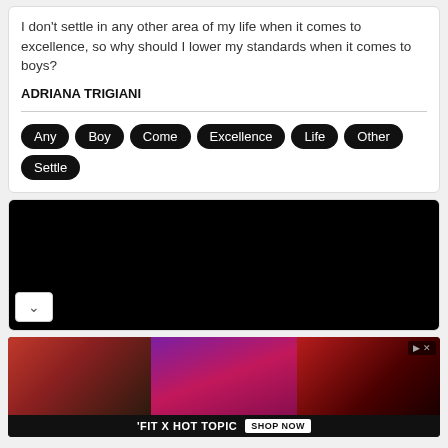I don't settle in any other area of my life when it comes to excellence, so why should I lower my standards when it comes to boys?
ADRIANA TRIGIANI
Any
Boy
Come
Excellence
Life
Other
Settle
[Figure (other): Black rectangular image area below the quote card]
[Figure (photo): Advertisement banner for 'FIT X HOT TOPIC' showing three photos of people in alternative fashion clothing with a 'SHOP NOW' button]